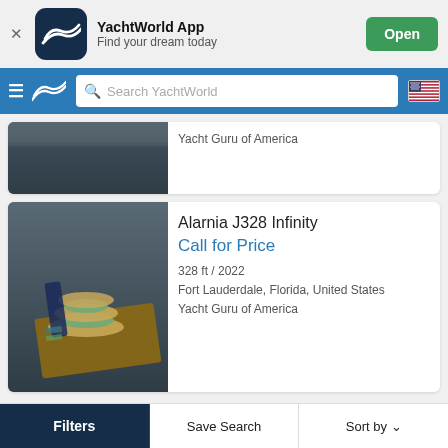[Figure (screenshot): YachtWorld app banner with app icon, name, tagline, and Open button]
[Figure (screenshot): YachtWorld website navigation bar with hamburger menu, logo, search box, and US flag]
Yacht Guru of America
[Figure (photo): Partial boat listing photo showing dark surface]
Alarnia J328 Infinity
Call for Price
328 ft / 2022
Fort Lauderdale, Florida, United States
Yacht Guru of America
[Figure (photo): Boat listing photo showing decorative stacked hat-like objects on a wooden surface]